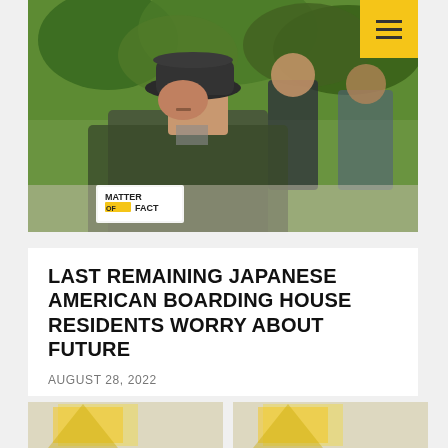[Figure (photo): Three Asian men walking outdoors near trees in an urban setting. The main subject wears a dark hat and olive green jacket. A 'Matter of Fact' logo overlay appears in the lower left of the image.]
LAST REMAINING JAPANESE AMERICAN BOARDING HOUSE RESIDENTS WORRY ABOUT FUTURE
AUGUST 28, 2022
[Figure (logo): Two thumbnail images with yellow/gold Matter of Fact logo graphics at the bottom of the page]